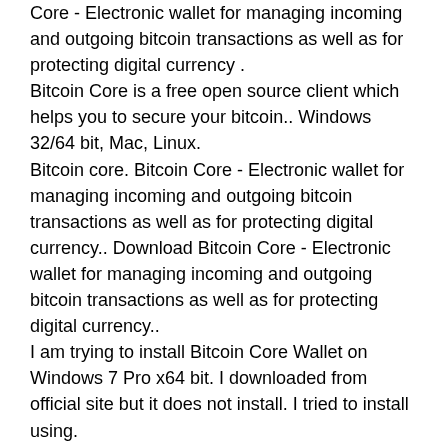Core - Electronic wallet for managing incoming and outgoing bitcoin transactions as well as for protecting digital currency .
Bitcoin Core is a free open source client which helps you to secure your bitcoin.. Windows 32/64 bit, Mac, Linux.
Bitcoin core. Bitcoin Core - Electronic wallet for managing incoming and outgoing bitcoin transactions as well as for protecting digital currency.. Download Bitcoin Core - Electronic wallet for managing incoming and outgoing bitcoin transactions as well as for protecting digital currency..
I am trying to install Bitcoin Core Wallet on Windows 7 Pro x64 bit. I downloaded from official site but it does not install. I tried to install using.
Download Bitcoin Core - Electronic wallet for managing incoming and outgoing bitcoin transactions as well as for